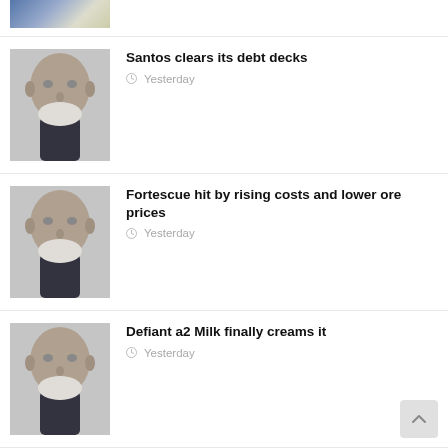[Figure (photo): Partial thumbnail at top of page - partial view of people]
[Figure (photo): Headshot of older bald man with white beard - thumbnail for Santos article]
Santos clears its debt decks
Yesterday
[Figure (photo): Headshot of older bald man with white beard - thumbnail for Fortescue article]
Fortescue hit by rising costs and lower ore prices
Yesterday
[Figure (photo): Headshot of older bald man with white beard - thumbnail for a2 Milk article]
Defiant a2 Milk finally creams it
Yesterday
[Figure (photo): Headshot of older bald man with white beard - thumbnail for Resource nuggets article]
Resource nuggets: NST, MIN
Yesterday